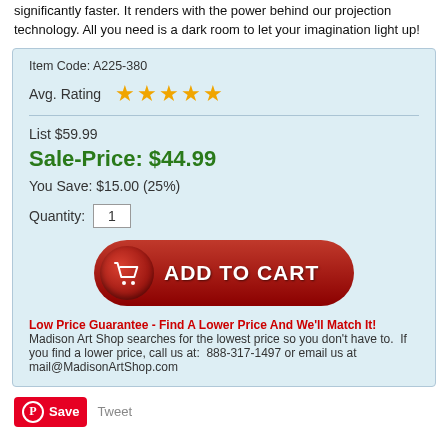significantly faster. It renders with the power behind our projection technology. All you need is a dark room to let your imagination light up!
Item Code: A225-380
Avg. Rating ★★★★★
List $59.99
Sale-Price: $44.99
You Save: $15.00 (25%)
Quantity: 1
[Figure (other): Red Add to Cart button with shopping cart icon]
Low Price Guarantee - Find A Lower Price And We'll Match It! Madison Art Shop searches for the lowest price so you don't have to. If you find a lower price, call us at: 888-317-1497 or email us at mail@MadisonArtShop.com
Save  Tweet